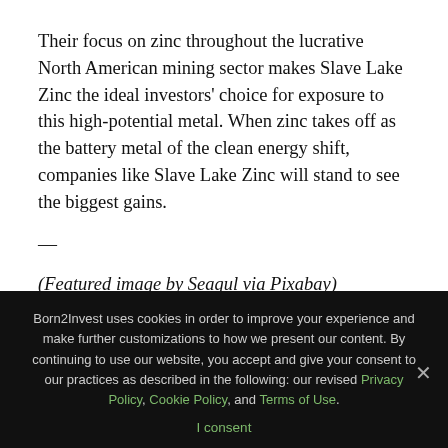Their focus on zinc throughout the lucrative North American mining sector makes Slave Lake Zinc the ideal investors' choice for exposure to this high-potential metal. When zinc takes off as the battery metal of the clean energy shift, companies like Slave Lake Zinc will stand to see the biggest gains.
—
(Featured image by Seagul via Pixabay)
DISCLAIMER: This article was written by a third party
Born2Invest uses cookies in order to improve your experience and make further customizations to how we present our content. By continuing to use our website, you accept and give your consent to our practices as described in the following: our revised Privacy Policy, Cookie Policy, and Terms of Use.
I consent